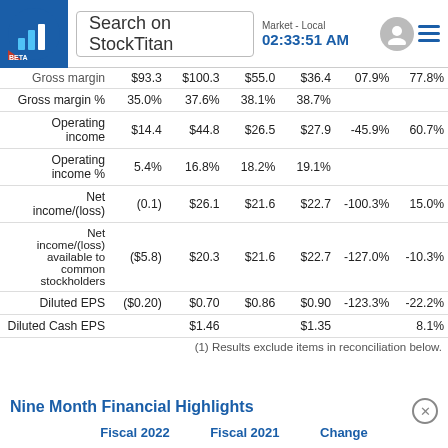Search on StockTitan | Market - Local 02:33:51 AM
|  | Col1 | Col2 | Col3 | Col4 | Col5 | Col6 |
| --- | --- | --- | --- | --- | --- | --- |
| Gross margin | $93.3 | $100.3 | $55.0 | $36.4 | 07.9% | 77.8% |
| Gross margin % | 35.0% | 37.6% | 38.1% | 38.7% |  |  |
| Operating income | $14.4 | $44.8 | $26.5 | $27.9 | -45.9% | 60.7% |
| Operating income % | 5.4% | 16.8% | 18.2% | 19.1% |  |  |
| Net income/(loss) | (0.1) | $26.1 | $21.6 | $22.7 | -100.3% | 15.0% |
| Net income/(loss) available to common stockholders | ($5.8) | $20.3 | $21.6 | $22.7 | -127.0% | -10.3% |
| Diluted EPS | ($0.20) | $0.70 | $0.86 | $0.90 | -123.3% | -22.2% |
| Diluted Cash EPS |  | $1.46 |  | $1.35 |  | 8.1% |
(1) Results exclude items in reconciliation below.
Nine Month Financial Highlights
Fiscal 2022   Fiscal 2021   Change